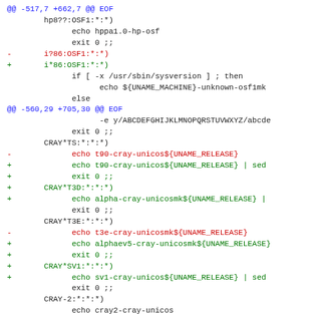diff --git hunk and code lines showing a unified diff of shell script changes for config.guess, covering hunk headers, removed lines (red), added lines (green), and context lines (default color).